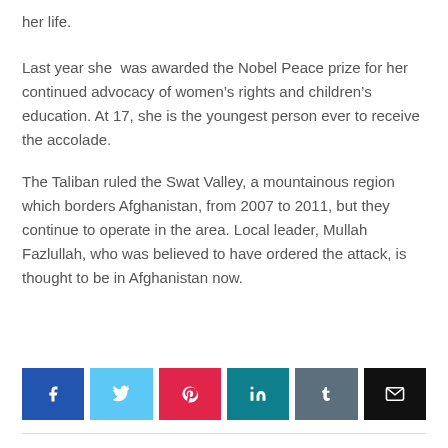her life.
Last year she  was awarded the Nobel Peace prize for her continued advocacy of women’s rights and children’s education. At 17, she is the youngest person ever to receive the accolade.
The Taliban ruled the Swat Valley, a mountainous region which borders Afghanistan, from 2007 to 2011, but they continue to operate in the area. Local leader, Mullah Fazlullah, who was believed to have ordered the attack, is thought to be in Afghanistan now.
[Figure (other): Social media sharing buttons: Facebook, Twitter, Pinterest, LinkedIn, Tumblr, Email]